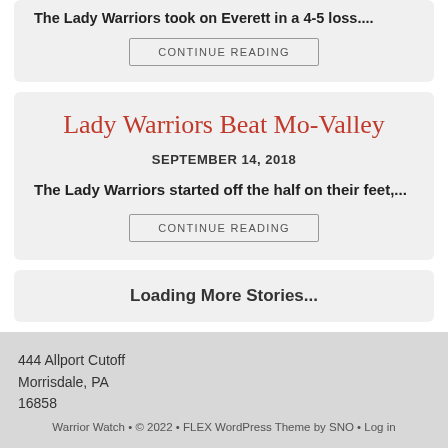The Lady Warriors took on Everett in a 4-5 loss....
CONTINUE READING
Lady Warriors Beat Mo-Valley
SEPTEMBER 14, 2018
The Lady Warriors started off the half on their feet,...
CONTINUE READING
Loading More Stories...
444 Allport Cutoff
Morrisdale, PA
16858
Warrior Watch • © 2022 • FLEX WordPress Theme by SNO • Log in